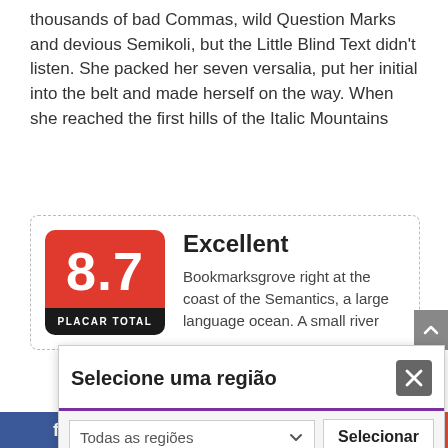thousands of bad Commas, wild Question Marks and devious Semikoli, but the Little Blind Text didn't listen. She packed her seven versalia, put her initial into the belt and made herself on the way. When she reached the first hills of the Italic Mountains
[Figure (infographic): Rating badge showing 8.7 score with PLACAR TOTAL label in red and black, next to Excellent heading and description text about Bookmarksgrove]
Bookmarksgrove right at the coast of the Semantics, a large language ocean. A small river
[Figure (screenshot): Modal popup with title 'Selecione uma região', a close button, a dropdown showing 'Todas as regiões', and a 'Selecionar' button]
[Figure (infographic): Social sharing bar at the bottom with Facebook, Twitter, Pinterest, and Google+ icons]